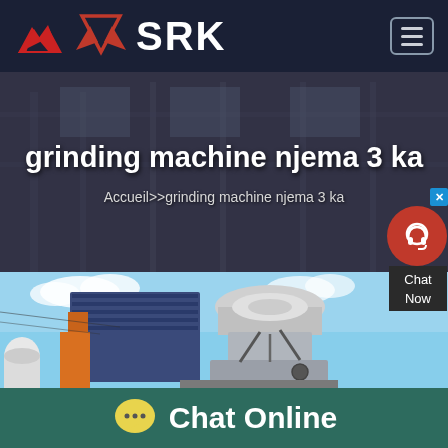SRK
grinding machine njema 3 ka
Accueil>>grinding machine njema 3 ka
[Figure (photo): Industrial grinding/cone crusher machine photographed against a sky with blue shipping container in background]
Chat Online